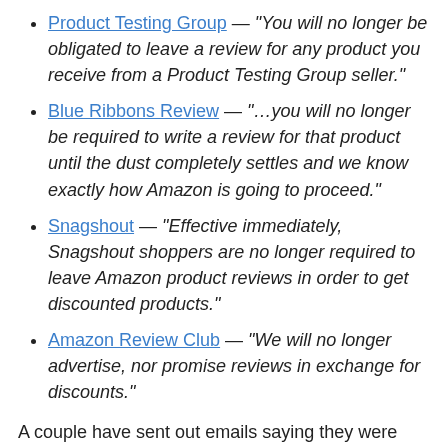Product Testing Group — "You will no longer be obligated to leave a review for any product you receive from a Product Testing Group seller."
Blue Ribbons Review — "…you will no longer be required to write a review for that product until the dust completely settles and we know exactly how Amazon is going to proceed."
Snagshout — "Effective immediately, Snagshout shoppers are no longer required to leave Amazon product reviews in order to get discounted products."
Amazon Review Club — "We will no longer advertise, nor promise reviews in exchange for discounts."
A couple have sent out emails saying they were shutting down or putting their program on pause.